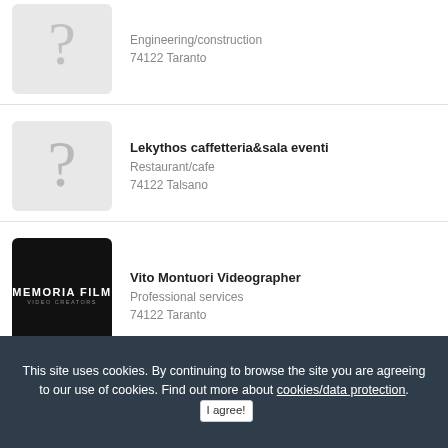Engineering/construction
74122 Taranto
Lekythos caffetteria&sala eventi
Restaurant/cafe
74122 Talsano
Vito Montuori Videographer
Professional services
74122 Taranto
This site uses cookies. By continuing to browse the site you are agreeing to our use of cookies. Find out more about cookies/data protection. I agree!